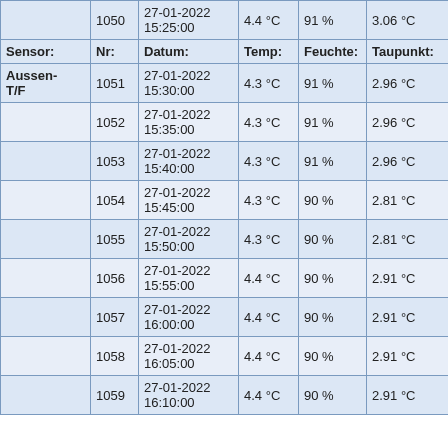| Sensor: | Nr: | Datum: | Temp: | Feuchte: | Taupunkt: |
| --- | --- | --- | --- | --- | --- |
|  | 1050 | 27-01-2022 15:25:00 | 4.4 °C | 91 % | 3.06 °C |
| Sensor: | Nr: | Datum: | Temp: | Feuchte: | Taupunkt: |
| Aussen-T/F | 1051 | 27-01-2022 15:30:00 | 4.3 °C | 91 % | 2.96 °C |
|  | 1052 | 27-01-2022 15:35:00 | 4.3 °C | 91 % | 2.96 °C |
|  | 1053 | 27-01-2022 15:40:00 | 4.3 °C | 91 % | 2.96 °C |
|  | 1054 | 27-01-2022 15:45:00 | 4.3 °C | 90 % | 2.81 °C |
|  | 1055 | 27-01-2022 15:50:00 | 4.3 °C | 90 % | 2.81 °C |
|  | 1056 | 27-01-2022 15:55:00 | 4.4 °C | 90 % | 2.91 °C |
|  | 1057 | 27-01-2022 16:00:00 | 4.4 °C | 90 % | 2.91 °C |
|  | 1058 | 27-01-2022 16:05:00 | 4.4 °C | 90 % | 2.91 °C |
|  | 1059 | 27-01-2022 16:10:00 | 4.4 °C | 90 % | 2.91 °C |